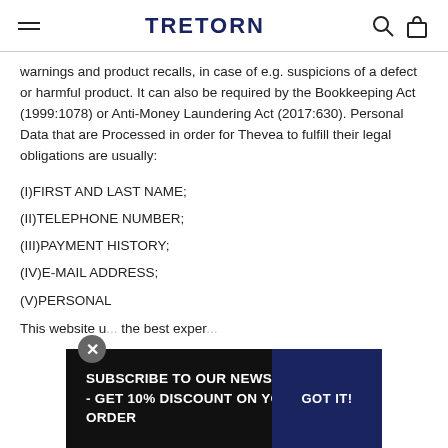TRETORN
warnings and product recalls, in case of e.g. suspicions of a defect or harmful product. It can also be required by the Bookkeeping Act (1999:1078) or Anti-Money Laundering Act (2017:630). Personal Data that are Processed in order for Thevea to fulfill their legal obligations are usually:
(I)FIRST AND LAST NAME;
(II)TELEPHONE NUMBER;
(III)PAYMENT HISTORY;
(IV)E-MAIL ADDRESS;
(V)PERSONAL...
This website u... the best exper...
SUBSCRIBE TO OUR NEWSLETTER - GET 10% DISCOUNT ON YOUR FIRST ORDER